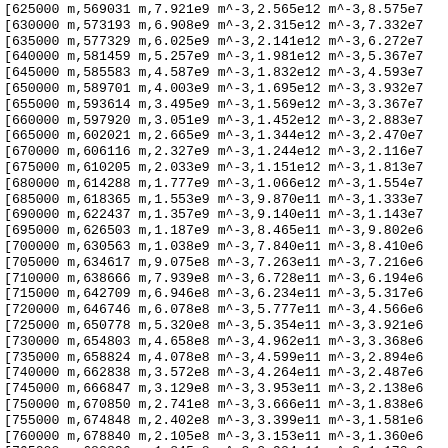[625000 m,569031 m,7.921e9 m^-3,2.565e12 m^-3,8.575e7
[630000 m,573193 m,6.908e9 m^-3,2.315e12 m^-3,7.332e7
[635000 m,577329 m,6.025e9 m^-3,2.141e12 m^-3,6.272e7
[640000 m,581459 m,5.257e9 m^-3,1.981e12 m^-3,5.367e7
[645000 m,585583 m,4.587e9 m^-3,1.832e12 m^-3,4.593e7
[650000 m,589701 m,4.003e9 m^-3,1.695e12 m^-3,3.932e7
[655000 m,593614 m,3.495e9 m^-3,1.569e12 m^-3,3.367e7
[660000 m,597920 m,3.051e9 m^-3,1.452e12 m^-3,2.883e7
[665000 m,602021 m,2.665e9 m^-3,1.344e12 m^-3,2.470e7
[670000 m,606116 m,2.327e9 m^-3,1.244e12 m^-3,2.116e7
[675000 m,610205 m,2.033e9 m^-3,1.151e12 m^-3,1.813e7
[680000 m,614288 m,1.777e9 m^-3,1.066e12 m^-3,1.554e7
[685000 m,618365 m,1.553e9 m^-3,9.870e11 m^-3,1.333e7
[690000 m,622437 m,1.357e9 m^-3,9.140e11 m^-3,1.143e7
[695000 m,626503 m,1.187e9 m^-3,8.465e11 m^-3,9.802e6
[700000 m,630563 m,1.038e9 m^-3,7.840e11 m^-3,8.410e6
[705000 m,634617 m,9.075e8 m^-3,7.263e11 m^-3,7.216e6
[710000 m,638666 m,7.939e8 m^-3,6.728e11 m^-3,6.194e6
[715000 m,642709 m,6.946e8 m^-3,6.234e11 m^-3,5.317e6
[720000 m,646746 m,6.078e8 m^-3,5.777e11 m^-3,4.566e6
[725000 m,650778 m,5.320e8 m^-3,5.354e11 m^-3,3.921e6
[730000 m,654803 m,4.658e8 m^-3,4.962e11 m^-3,3.368e6
[735000 m,658824 m,4.078e8 m^-3,4.599e11 m^-3,2.894e6
[740000 m,662838 m,3.572e8 m^-3,4.264e11 m^-3,2.487e6
[745000 m,666847 m,3.129e8 m^-3,3.953e11 m^-3,2.138e6
[750000 m,670850 m,2.741e8 m^-3,3.666e11 m^-3,1.838e6
[755000 m,674848 m,2.402e8 m^-3,3.399e11 m^-3,1.581e6
[760000 m,678840 m,2.105e8 m^-3,3.153e11 m^-3,1.360e6
[765000 m,682826 m,1.845e8 m^-3,2.924e11 m^-3,1.170e6